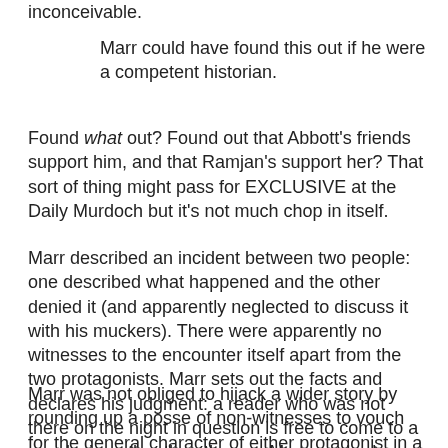inconceivable.
Marr could have found this out if he were a competent historian.
Found what out? Found out that Abbott's friends support him, and that Ramjan's support her? That sort of thing might pass for EXCLUSIVE at the Daily Murdoch but it's not much chop in itself.
Marr described an incident between two people: one described what happened and the other denied it (and apparently neglected to discuss it with his muckers). There were apparently no witnesses to the encounter itself apart from the two protagonists. Marr sets out the facts and declares his judgment: a reader who was not there on the night in question is free to come to a conclusion other than the one Marr reached.
Marr was not obliged to hijack a wider story by rounding up a posse of non-witnesses to vouch for the general character of either protagonist in a single event that may or may not